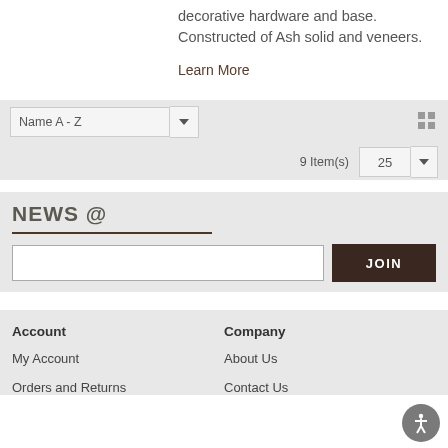decorative hardware and base. Constructed of Ash solid and veneers.
Learn More
Name A - Z
9 Item(s)
NEWS @
JOIN
Account
My Account
Orders and Returns
Company
About Us
Contact Us